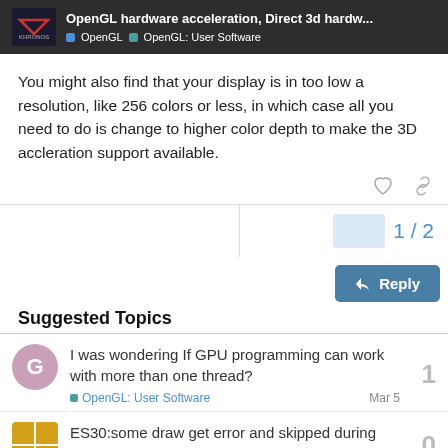OpenGL hardware acceleration, Direct 3d hardw... | OpenGL | OpenGL: User Software
You might also find that your display is in too low a resolution, like 256 colors or less, in which case all you need to do is change to higher color depth to make the 3D accleration support available.
1 / 2
Reply
Suggested Topics
I was wondering If GPU programming can work with more than one thread?
OpenGL: User Software | Mar 5 | 1
ES30:some draw get error and skipped during validation